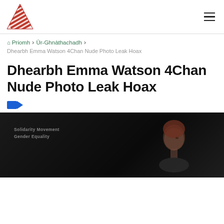Navigation header with logo and hamburger menu
Priomh > Ùr-Ghnàthachadh >
Dhearbh Emma Watson 4Chan Nude Photo Leak Hoax
Dhearbh Emma Watson 4Chan Nude Photo Leak Hoax
[Figure (photo): Dark photo showing a woman (Emma Watson) at what appears to be a podium or event, with text visible in the background reading 'Solidarity Movement Gender Equality']